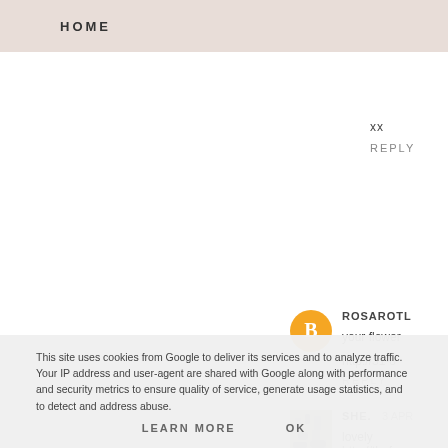HOME
xx
REPLY
ROSAROTL
your flower
http://31-8
REPLY
[Figure (photo): Small square avatar photo showing a tiger or similar animal, grayscale]
SHE.  3 APR
lovely
http://thefo
REPLY
This site uses cookies from Google to deliver its services and to analyze traffic. Your IP address and user-agent are shared with Google along with performance and security metrics to ensure quality of service, generate usage statistics, and to detect and address abuse.
LEARN MORE
OK